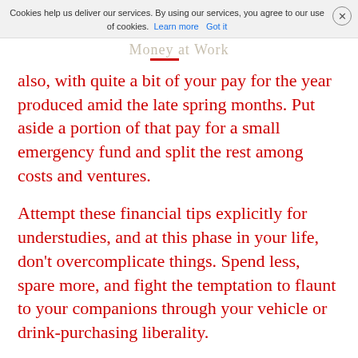Cookies help us deliver our services. By using our services, you agree to our use of cookies. Learn more  Got it
also, with quite a bit of your pay for the year produced amid the late spring months. Put aside a portion of that pay for a small emergency fund and split the rest among costs and ventures.
Attempt these financial tips explicitly for understudies, and at this phase in your life, don't overcomplicate things. Spend less, spare more, and fight the temptation to flaunt to your companions through your vehicle or drink-purchasing liberality.